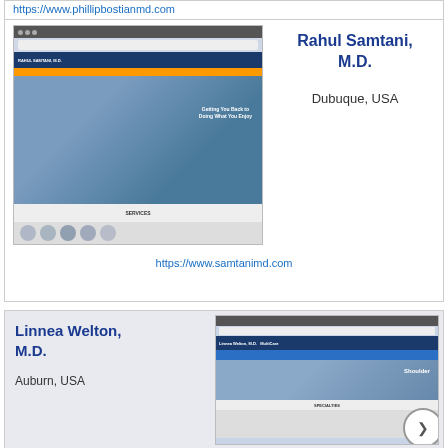https://www.phillipbostianmd.com
[Figure (screenshot): Screenshot of Rahul Samtani M.D. website showing a golfer swinging with text 'Getting You Back to Doing What You Enjoy' and a SERVICES section with icons]
Rahul Samtani, M.D.
Dubuque, USA
https://www.samtanimd.com
Linnea Welton, M.D.
Auburn, USA
[Figure (screenshot): Screenshot of Linnea Welton M.D. website showing MultiCare branding with a Shoulder section and SPECIALTIES section]